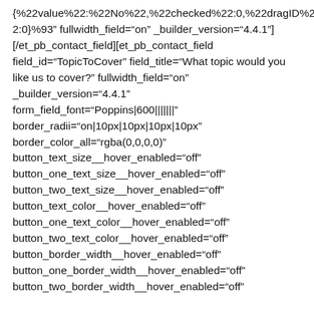{%22value%22:%22No%22,%22checked%22:0,%22dragID%22:0}%93” fullwidth_field=“on” _builder_version=“4.4.1”]
[/et_pb_contact_field][et_pb_contact_field
field_id=“TopicToCover” field_title=“What topic would you like us to cover?” fullwidth_field=“on”
_builder_version=“4.4.1”
form_field_font=“Poppins|600|||||||”
border_radii=“on|10px|10px|10px|10px”
border_color_all=“rgba(0,0,0,0)”
button_text_size__hover_enabled=“off”
button_one_text_size__hover_enabled=“off”
button_two_text_size__hover_enabled=“off”
button_text_color__hover_enabled=“off”
button_one_text_color__hover_enabled=“off”
button_two_text_color__hover_enabled=“off”
button_border_width__hover_enabled=“off”
button_one_border_width__hover_enabled=“off”
button_two_border_width__hover_enabled=“off”